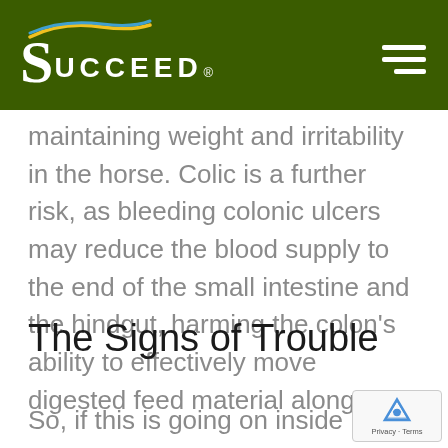SUCCEED
maintaining weight and irritability in the horse. Colic is a further risk, as bleeding colonic ulcers may reduce the blood supply to the end of the small intestine and the hindgut, harming the colon's ability to effectively move digested feed material along.
The Signs of Trouble
So, if this is going on inside the horse, ho